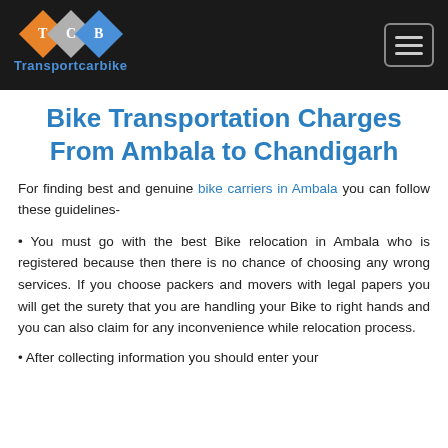Transportcarbike logo and navigation
Bike Transportation Charges From Ambala to Chandigarh
For finding best and genuine bike carriers in Ambala you can follow these guidelines-
• You must go with the best Bike relocation in Ambala who is registered because then there is no chance of choosing any wrong services. If you choose packers and movers with legal papers you will get the surety that you are handling your Bike to right hands and you can also claim for any inconvenience while relocation process.
• After collecting information you should enter your